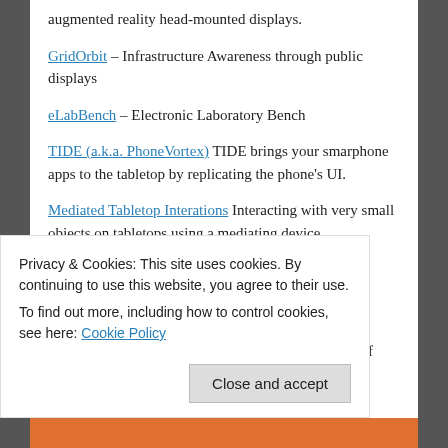augmented reality head-mounted displays.
GridOrbit – Infrastructure Awareness through public displays
eLabBench – Electronic Laboratory Bench
TIDE (a.k.a. PhoneVortex) TIDE brings your smarphone apps to the tabletop by replicating the phone's UI.
Mediated Tabletop Interations Interacting with very small objects on tabletops using a mediating device.
InterruptMe Media-centered and person-dependent availability sharing
CrashAlert Augmenting mobile devices with a depth camera to provide distance and location visual cues of obstacles on the user's path.
Privacy & Cookies: This site uses cookies. By continuing to use this website, you agree to their use.
To find out more, including how to control cookies, see here: Cookie Policy